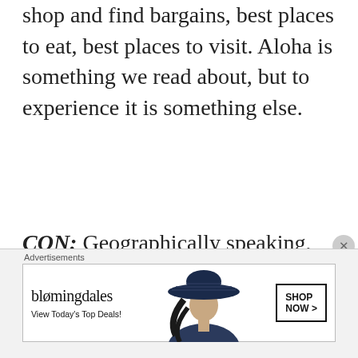shop and find bargains, best places to eat, best places to visit. Aloha is something we read about, but to experience it is something else.
CON: Geographically speaking, the Hawaiian islands are one of the most isolated places on the planet, alone and surrounded on all sides by thousands of miles of the Pacific Ocean. One of the most difficult adjustments new residents face is
[Figure (other): Bloomingdale's advertisement banner with logo, 'View Today's Top Deals!' text, woman wearing a large dark hat, and a 'SHOP NOW >' button]